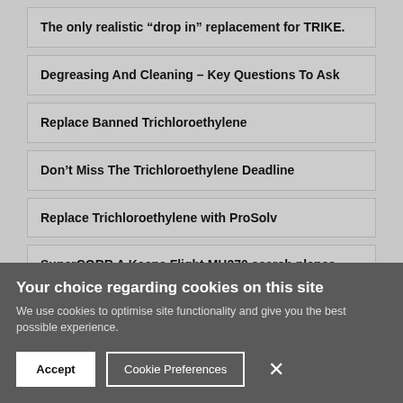The only realistic “drop in” replacement for TRIKE.
Degreasing And Cleaning – Key Questions To Ask
Replace Banned Trichloroethylene
Don’t Miss The Trichloroethylene Deadline
Replace Trichloroethylene with ProSolv
SuperCORR A Keeps Flight MH370 search planes flying
EnSolv and the Environment – Update from the Co Chairman of the United Nations Ozone Assessment panel on nPB.
Your choice regarding cookies on this site
We use cookies to optimise site functionality and give you the best possible experience.